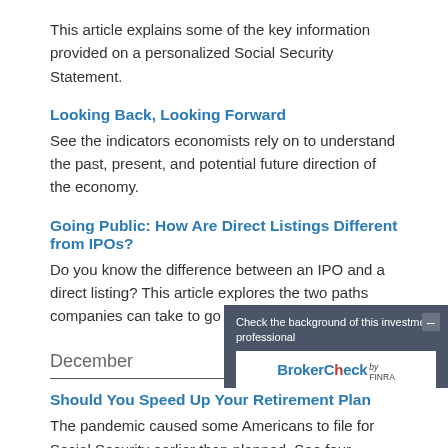This article explains some of the key information provided on a personalized Social Security Statement.
Looking Back, Looking Forward
See the indicators economists rely on to understand the past, present, and potential future direction of the economy.
Going Public: How Are Direct Listings Different from IPOs?
Do you know the difference between an IPO and a direct listing? This article explores the two paths companies can take to go public.
December
Should You Speed Up Your Reti[rement Plan]?
The pandemic caused some Am[ericans to file for] Social Security earlier than planned. See four
[Figure (other): BrokerCheck by FINRA overlay widget with minimize button, showing text 'Check the background of this investment professional' and BrokerCheck logo]